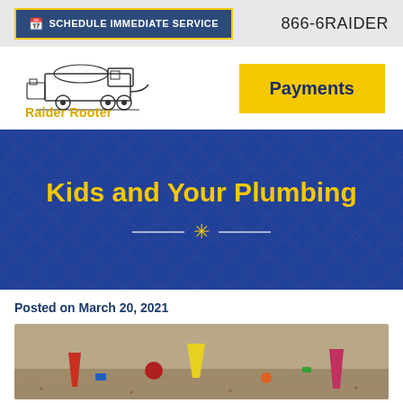SCHEDULE IMMEDIATE SERVICE | 866-6RAIDER
[Figure (logo): Raider Rooter logo with septic truck illustration. Text: Raider Rooter, SEPTIC/GREASE PUMPING AND DRAIN CLEANING]
Payments
Kids and Your Plumbing
Posted on March 20, 2021
[Figure (photo): Children's toy cups and items lying in dirt/sand, colorful plastic toys]